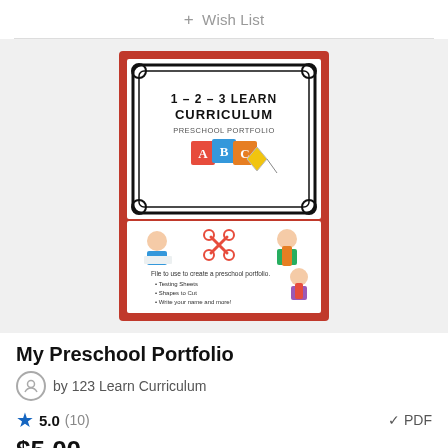+ Wish List
[Figure (illustration): Book cover for 'My Preschool Portfolio' by 1-2-3 Learn Curriculum featuring a red border with decorative scroll design, ABC block illustration, and children clip art with text listing portfolio contents.]
My Preschool Portfolio
by 123 Learn Curriculum
5.0 (10)
✓ PDF
$5.00
Show more details ✓